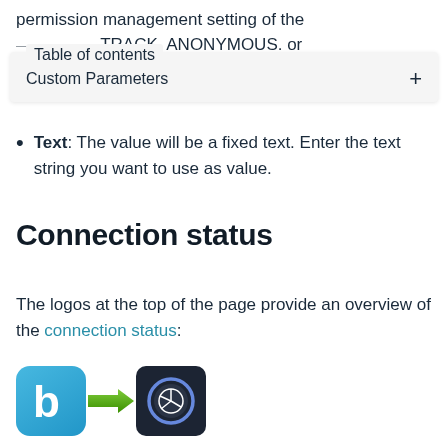permission management setting of the option (CONSENT, TRACK. ANONYMOUS. or
[Figure (screenshot): Table of contents UI bar with 'Custom Parameters' label and a + button]
Text: The value will be a fixed text. Enter the text string you want to use as value.
Connection status
The logos at the top of the page provide an overview of the connection status:
[Figure (illustration): Two app logos: Bitrix24 (blue rounded square with white b) connected via green arrow to an analytics app (dark rounded square with pie chart icon)]